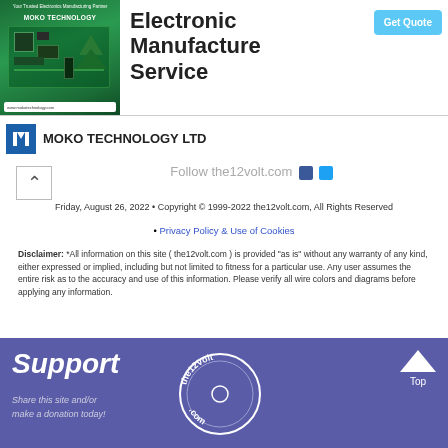[Figure (advertisement): MOKO Technology Ltd electronic manufacture service ad banner with green circuit board image on left and 'Electronic Manufacture Service' text with 'Get Quote' button on right]
Follow the12volt.com
Friday, August 26, 2022 • Copyright © 1999-2022 the12volt.com, All Rights Reserved
• Privacy Policy & Use of Cookies
Disclaimer: *All information on this site ( the12volt.com ) is provided "as is" without any warranty of any kind, either expressed or implied, including but not limited to fitness for a particular use. Any user assumes the entire risk as to the accuracy and use of this information. Please verify all wire colors and diagrams before applying any information.
[Figure (logo): Secured by Sectigo badge with green S logo]
[Figure (advertisement): Support the12volt.com - Share this site and/or make a donation today! banner with the12volt.com circular logo and Top button]